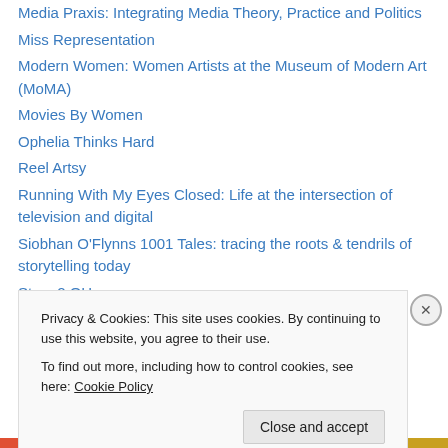Media Praxis: Integrating Media Theory, Practice and Politics
Miss Representation
Modern Women: Women Artists at the Museum of Modern Art (MoMA)
Movies By Women
Ophelia Thinks Hard
Reel Artsy
Running With My Eyes Closed: Life at the intersection of television and digital
Siobhan O'Flynns 1001 Tales: tracing the roots & tendrils of storytelling today
Story 2.OH
The Film Collaborative
The Flick Chick
The Opinioness of the World
Privacy & Cookies: This site uses cookies. By continuing to use this website, you agree to their use. To find out more, including how to control cookies, see here: Cookie Policy
Close and accept